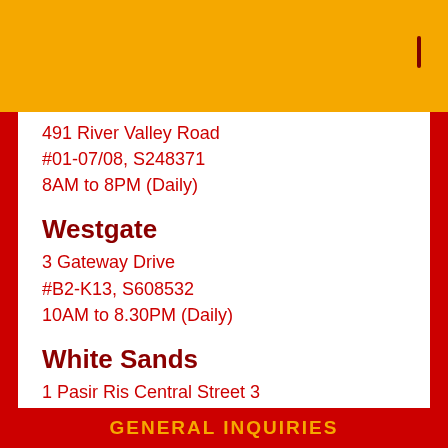491 River Valley Road
#01-07/08, S248371
8AM to 8PM (Daily)
Westgate
3 Gateway Drive
#B2-K13, S608532
10AM to 8.30PM (Daily)
White Sands
1 Pasir Ris Central Street 3
#B1-K12/13, S518457
8AM to 8.30PM (Daily)
GENERAL INQUIRIES